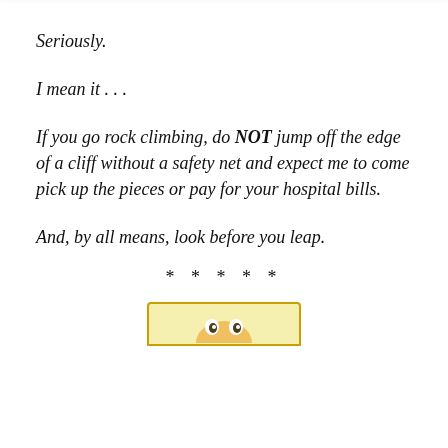Seriously.
I mean it . . .
If you go rock climbing, do NOT jump off the edge of a cliff without a safety net and expect me to come pick up the pieces or pay for your hospital bills.
And, by all means, look before you leap.
* * * * *
[Figure (illustration): Top portion of a cartoon character peeking over a yellow box border]
Privacy & Cookies: This site uses cookies. By continuing to use this website, you agree to their use.
To find out more, including how to control cookies, see here: Cookie Policy